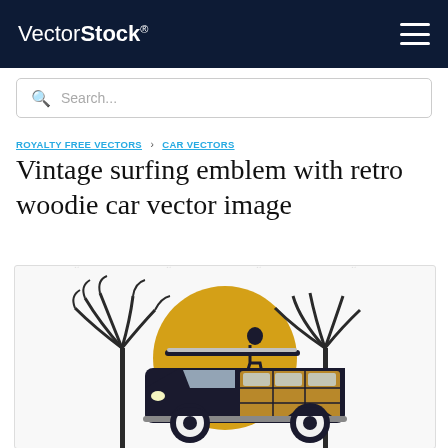VectorStock®
Search...
ROYALTY FREE VECTORS › CAR VECTORS
Vintage surfing emblem with retro woodie car vector image
[Figure (illustration): Vintage surfing emblem illustration showing a retro woodie station wagon with surfboards on roof, palm trees, and a golden sun circle in the background, with VectorStock watermark overlay]